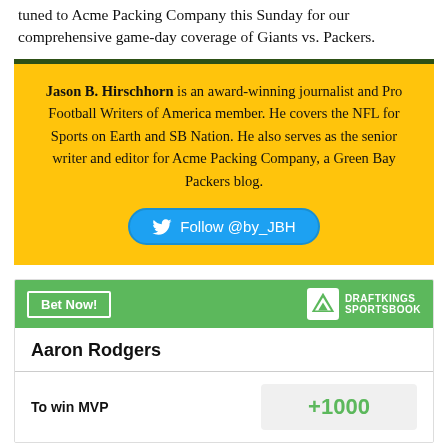tuned to Acme Packing Company this Sunday for our comprehensive game-day coverage of Giants vs. Packers.
Jason B. Hirschhorn is an award-winning journalist and Pro Football Writers of America member. He covers the NFL for Sports on Earth and SB Nation. He also serves as the senior writer and editor for Acme Packing Company, a Green Bay Packers blog.
[Figure (other): Follow @by_JBH Twitter button]
[Figure (other): DraftKings Sportsbook betting widget showing Aaron Rodgers To win MVP odds of +1000]